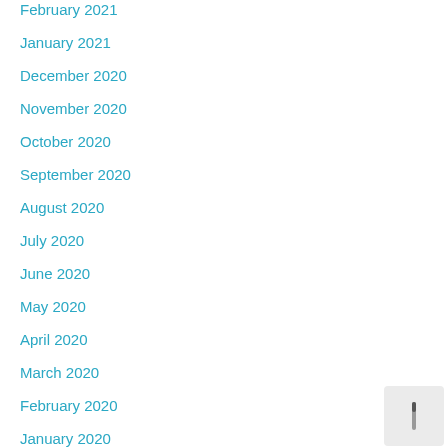February 2021
January 2021
December 2020
November 2020
October 2020
September 2020
August 2020
July 2020
June 2020
May 2020
April 2020
March 2020
February 2020
January 2020
December 2019
November 2019